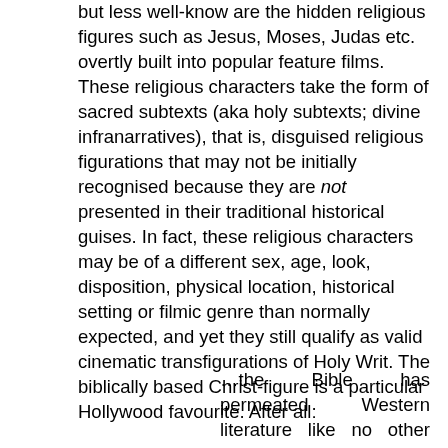but less well-know are the hidden religious figures such as Jesus, Moses, Judas etc. overtly built into popular feature films. These religious characters take the form of sacred subtexts (aka holy subtexts; divine infranarratives), that is, disguised religious figurations that may not be initially recognised because they are not presented in their traditional historical guises. In fact, these religious characters may be of a different sex, age, look, disposition, physical location, historical setting or filmic genre than normally expected, and yet they still qualify as valid cinematic transfigurations of Holy Writ. The biblically based Christ-figure is a particular Hollywood favourite. After all:
…the Bible has permeated Western literature like no other text, so that even today it is, arguably, one of the most